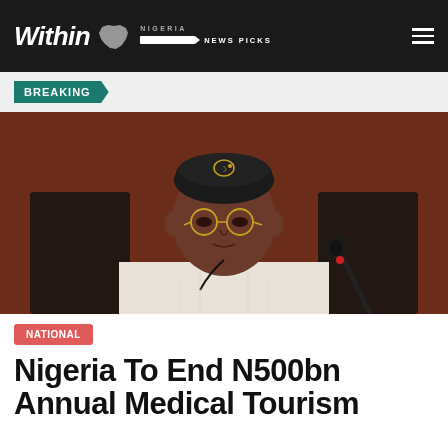Within Nigeria NEWS PICKS
BREAKING
[Figure (photo): An elderly Nigerian man wearing a traditional black embroidered cap and round-framed glasses, dressed in white traditional attire, seated in front of a dark background with a microphone in the foreground.]
NATIONAL
Nigeria To End N500bn Annual Medical Tourism